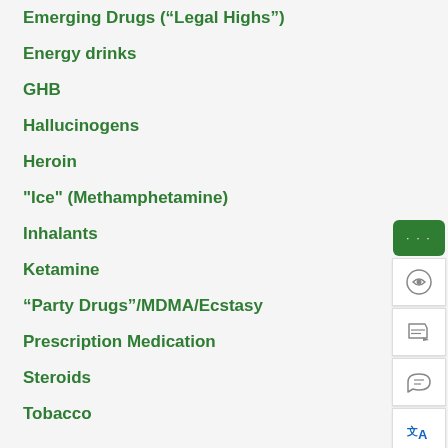Emerging Drugs (“Legal Highs”)
Energy drinks
GHB
Hallucinogens
Heroin
"Ice" (Methamphetamine)
Inhalants
Ketamine
“Party Drugs”/MDMA/Ecstasy
Prescription Medication
Steroids
Tobacco
About us